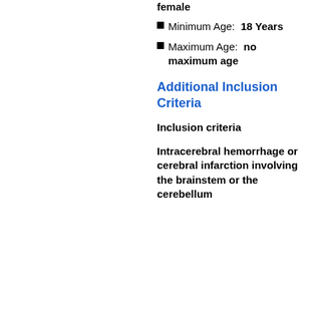female
Minimum Age: 18 Years
Maximum Age: no maximum age
Additional Inclusion Criteria
Inclusion criteria
Intracerebral hemorrhage or cerebral infarction involving the brainstem or the cerebellum